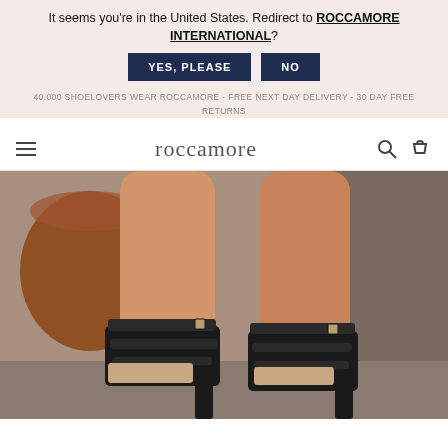It seems you're in the United States. Redirect to ROCCAMORE INTERNATIONAL?
YES, PLEASE
NO
40.000 SHOELOVERS WEAR ROCCAMORE - FREE NEXT DAY DELIVERY - 30 DAY FREE RETURNS
roccamore
[Figure (photo): Close-up photo of person's legs wearing black multi-strap Mary Jane heels with buckles, posed on stone steps with a terracotta pot in the background.]